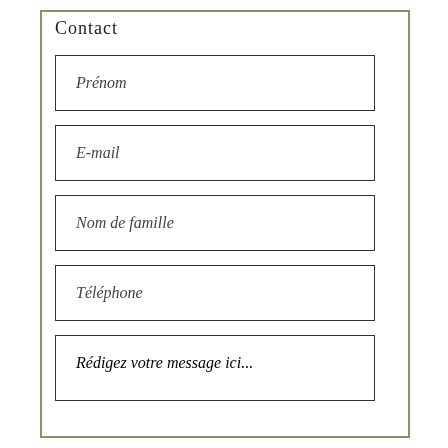Contact
Prénom
E-mail
Nom de famille
Téléphone
Rédigez votre message ici...